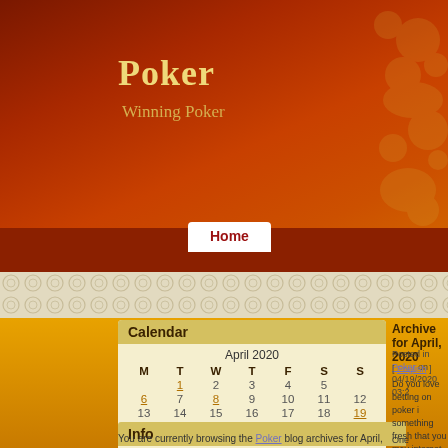Poker
Winning Poker
Home
Calendar
| M | T | W | T | F | S | S |
| --- | --- | --- | --- | --- | --- | --- |
|  | 1 | 2 | 3 | 4 | 5 |  |
| 6 | 7 | 8 | 9 | 10 | 11 | 12 |
| 13 | 14 | 15 | 16 | 17 | 18 | 19 |
| 20 | 21 | 22 | 23 | 24 | 25 | 26 |
| 27 | 28 | 29 | 30 | 31 |  |  |
Archive for April, 2020
Posted in Poker on 04/19/2020 03:2
[ English ]
Do you love betting on poker i something fresh that you may internet in an online casino. Th different types of poker from y seven Card Stud Poker, hold'e then an online poker room ma
One awesome benefit of betti your computer. If you are fed
Info
You are currently browsing the Poker blog archives for April, 2020